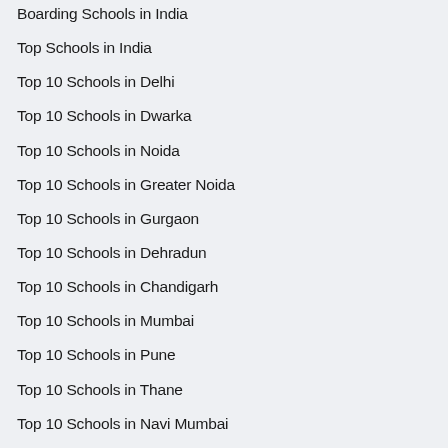Boarding Schools in India
Top Schools in India
Top 10 Schools in Delhi
Top 10 Schools in Dwarka
Top 10 Schools in Noida
Top 10 Schools in Greater Noida
Top 10 Schools in Gurgaon
Top 10 Schools in Dehradun
Top 10 Schools in Chandigarh
Top 10 Schools in Mumbai
Top 10 Schools in Pune
Top 10 Schools in Thane
Top 10 Schools in Navi Mumbai
Top 10 Schools in Jaipur